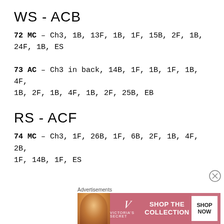WS - ACB
72 MC – Ch3, 1B, 13F, 1B, 1F, 15B, 2F, 1B, 24F, 1B, ES
73 AC – Ch3 in back, 14B, 1F, 1B, 1F, 1B, 4F, 1B, 2F, 1B, 4F, 1B, 2F, 25B, EB
RS - ACF
74 MC – Ch3, 1F, 26B, 1F, 6B, 2F, 1B, 4F, 2B, 1F, 14B, 1F, ES
[Figure (other): Victoria's Secret advertisement banner]